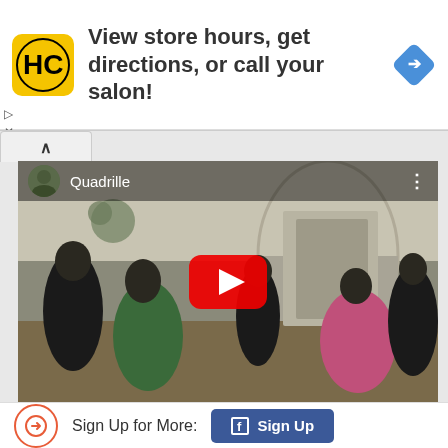[Figure (screenshot): Advertisement banner for HC salon with yellow logo, navigation text, and blue diamond navigation icon]
View store hours, get directions, or call your salon!
[Figure (screenshot): YouTube video player showing a ballroom dance scene titled Quadrille with a red play button overlay]
Sign Up for More:
[Figure (screenshot): Facebook Sign Up button in blue with Facebook logo]